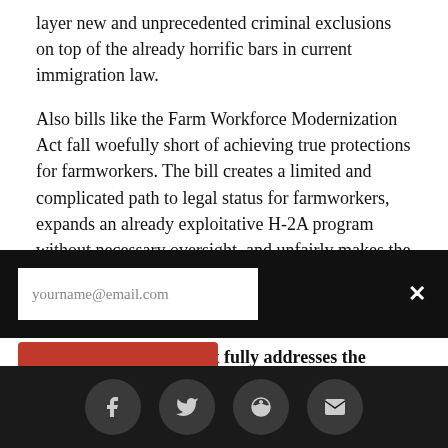layer new and unprecedented criminal exclusions on top of the already horrific bars in current immigration law.
Also bills like the Farm Workforce Modernization Act fall woefully short of achieving true protections for farmworkers. The bill creates a limited and complicated path to legal status for farmworkers, expands an already exploitative H-2A program without necessary oversight, and unfairly makes the E-Verify system mandatory for the entire agricultural industry.
We need legislation that fully addresses the needs of every member of our community. That legislation must:
[Figure (screenshot): Email signup overlay bar with input field showing placeholder 'yourname@email.com', partially visible red subscribe button, and a white X close button on black background]
[Figure (infographic): Social sharing bar with four circular grey icon buttons for Facebook, Twitter, Reddit, and email on dark background]